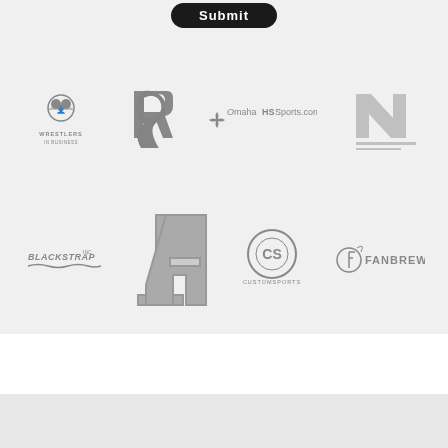[Figure (logo): Row of sponsor/partner logos: Wrestlers in Business, stylized R logo, OmahaHSSports.com, NE logo — all rendered in gray]
[Figure (logo): Row of sponsor/partner logos: BlackStrap Inc, IA stylized athletic logo, CustomSports circular logo, FanBrew logo — all rendered in gray]